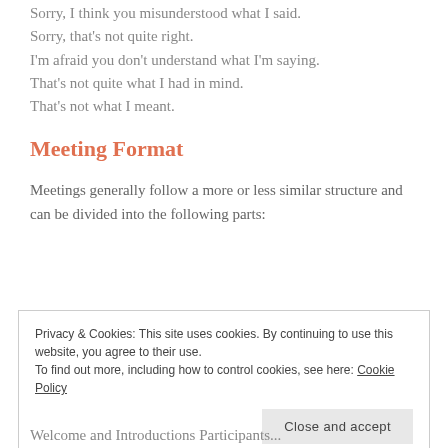Sorry, I think you misunderstood what I said.
Sorry, that's not quite right.
I'm afraid you don't understand what I'm saying.
That's not quite what I had in mind.
That's not what I meant.
Meeting Format
Meetings generally follow a more or less similar structure and can be divided into the following parts:
Privacy & Cookies: This site uses cookies. By continuing to use this website, you agree to their use.
To find out more, including how to control cookies, see here: Cookie Policy
Welcome and Introductions Participants...